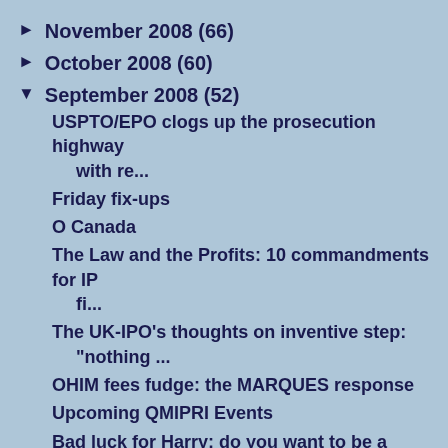► November 2008 (66)
► October 2008 (60)
▼ September 2008 (52)
USPTO/EPO clogs up the prosecution highway with re...
Friday fix-ups
O Canada
The Law and the Profits: 10 commandments for IP fi...
The UK-IPO's thoughts on inventive step: "nothing ...
OHIM fees fudge: the MARQUES response
Upcoming QMIPRI Events
Bad luck for Harry; do you want to be a policy adv...
"My name's Pat, ... Postman Pat"
WIPO -- New DG's first words ...
STOP PRESS! OHIM fee scandal comes closer to